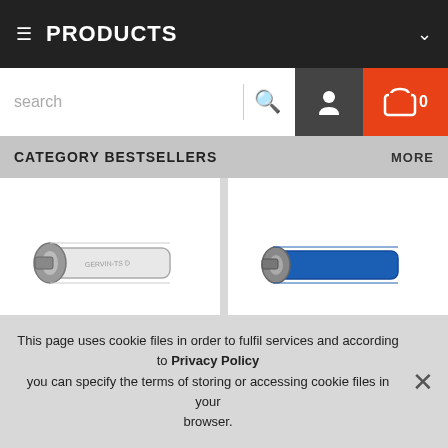PRODUCTS
[Figure (screenshot): Search bar with user and cart icons]
CATEGORY BESTSELLERS MORE
[Figure (photo): Product 1H007 - white/silver flat hose with metal coupling]
1H007
[Figure (photo): Product 1H008 - blue flat hose with metal coupling]
1H008
This page uses cookie files in order to fulfil services and according to Privacy Policy you can specify the terms of storing or accessing cookie files in your browser.